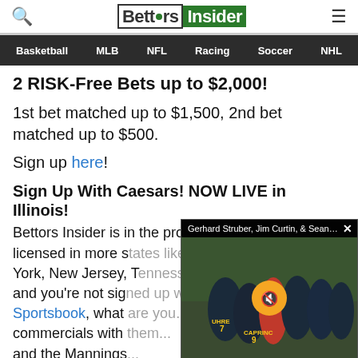BettorsInsider
2 RISK-Free Bets up to $2,000!
1st bet matched up to $1,500, 2nd bet matched up to $500.
Sign up here!
Sign Up With Caesars! NOW LIVE in Illinois!
Bettors Insider is in the process of getting licensed in more states like New York, New Jersey, T... and you're not signed up with Caesars Sportsbook, what are you waiting for? The commercials with... and the Mannings
[Figure (photo): Video overlay showing soccer players huddled together, with title bar reading 'Gerhard Struber, Jim Curtin, & Sean N...' and a close button. A mute button is overlaid on the video.]